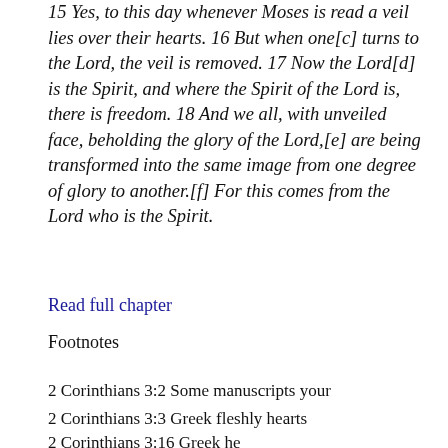annulled, because only through Christ is it taken away. 15 Yes, to this day whenever Moses is read a veil lies over their hearts. 16 But when one[c] turns to the Lord, the veil is removed. 17 Now the Lord[d] is the Spirit, and where the Spirit of the Lord is, there is freedom. 18 And we all, with unveiled face, beholding the glory of the Lord,[e] are being transformed into the same image from one degree of glory to another.[f] For this comes from the Lord who is the Spirit.
Read full chapter
Footnotes
2 Corinthians 3:2 Some manuscripts your
2 Corinthians 3:3 Greek fleshly hearts
2 Corinthians 3:16 Greek he